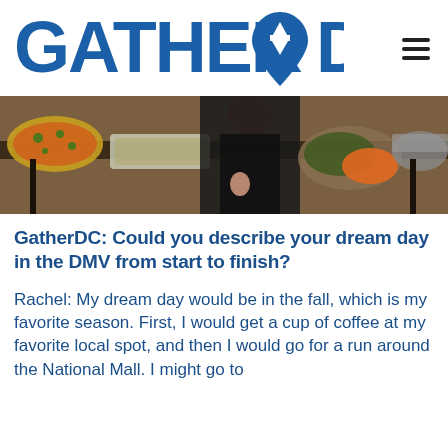[Figure (logo): GatherDC logo with a blue Star of David map pin icon between 'GATHER' and 'DC' text in bold blue letters]
[Figure (photo): A person in dark clothing standing behind a table spread with various food dishes including pizza, a charcuterie board, salads, and other party foods in bowls and trays]
GatherDC: Could you describe your dream day in the DMV from start to finish?
Rachel: My dream day would be in the fall, which is my favorite season. First, I would get a cup of coffee at my favorite local spot, and then I would go for a run around the National Mall. I might go to